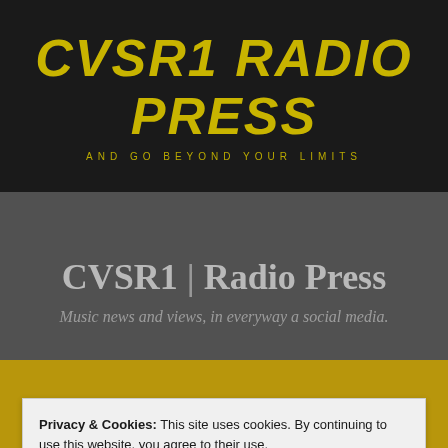[Figure (logo): CVSR1 Radio Press website header banner with black background, yellow-green italic bold text 'CVSR1 RADIO PRESS' and tagline 'AND GO BEYOND YOUR LIMITS']
CVSR1 | Radio Press
Music news and views, in everyway a social media.
MENU
Privacy & Cookies: This site uses cookies. By continuing to use this website, you agree to their use.
To find out more, including how to control cookies, see here: Cookie Policy